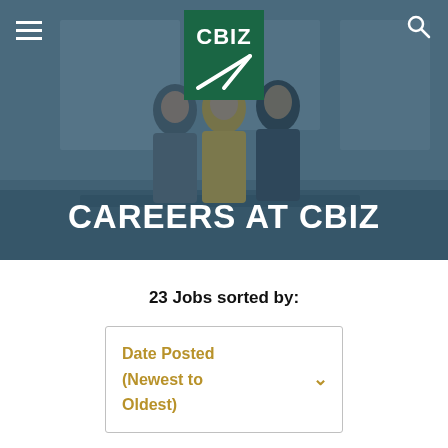[Figure (screenshot): CBIZ careers webpage hero banner showing three people in a business setting with a blue-grey overlay, CBIZ logo centered at top, hamburger menu on left, search icon on right]
CAREERS AT CBIZ
23 Jobs sorted by:
Date Posted (Newest to Oldest)